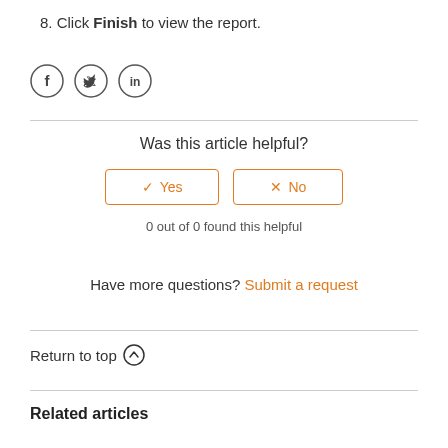8. Click Finish to view the report.
[Figure (illustration): Social media share icons: Facebook (f), Twitter (bird), LinkedIn (in) in circular outlines]
Was this article helpful?
✓ Yes   ✗ No  (buttons)
0 out of 0 found this helpful
Have more questions? Submit a request
Return to top ↑
Related articles